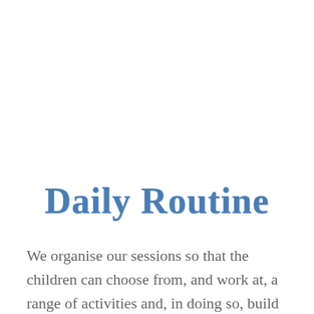Daily Routine
We organise our sessions so that the children can choose from, and work at, a range of activities and, in doing so, build up their ability to select and work